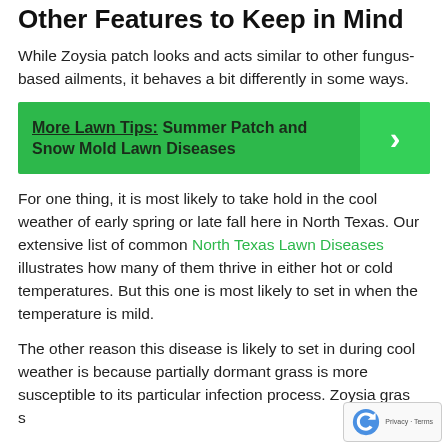Other Features to Keep in Mind
While Zoysia patch looks and acts similar to other fungus-based ailments, it behaves a bit differently in some ways.
More Lawn Tips:  Summer Patch and Snow Mold Lawn Diseases
For one thing, it is most likely to take hold in the cool weather of early spring or late fall here in North Texas. Our extensive list of common North Texas Lawn Diseases illustrates how many of them thrive in either hot or cold temperatures. But this one is most likely to set in when the temperature is mild.
The other reason this disease is likely to set in during cool weather is because partially dormant grass is more susceptible to its particular infection process. Zoysia grass